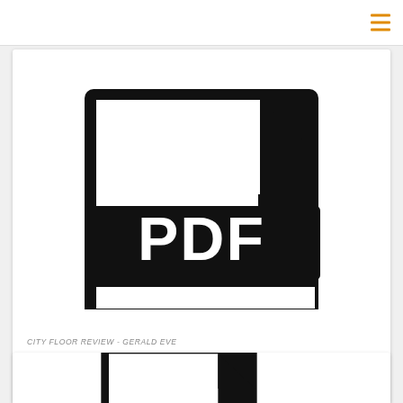[Figure (other): Hamburger menu icon with three horizontal orange lines, top-right corner]
[Figure (other): PDF file icon — large black document icon with 'PDF' text on a black banner across the middle]
CITY FLOOR REVIEW - GERALD EVE
146 Views
[Figure (other): Partial PDF file icon visible at the bottom of the page, cropped]